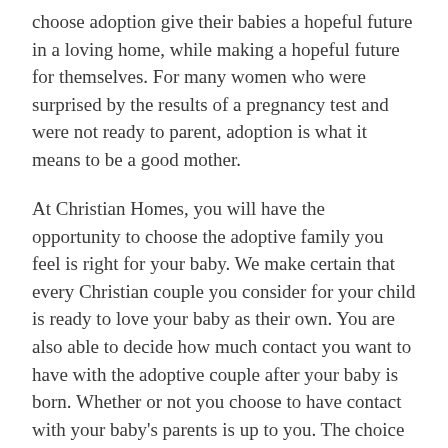choose adoption give their babies a hopeful future in a loving home, while making a hopeful future for themselves. For many women who were surprised by the results of a pregnancy test and were not ready to parent, adoption is what it means to be a good mother.
At Christian Homes, you will have the opportunity to choose the adoptive family you feel is right for your baby. We make certain that every Christian couple you consider for your child is ready to love your baby as their own. You are also able to decide how much contact you want to have with the adoptive couple after your baby is born. Whether or not you choose to have contact with your baby's parents is up to you. The choice is completely yours.
We understand the thoughts and questions you have can be overwhelming when considering to place your baby for adoption, but please know while making an adoption plan, you have several options. You choose whether you want to